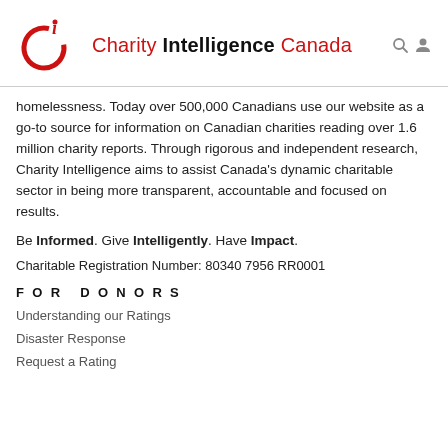Charity Intelligence Canada
homelessness. Today over 500,000 Canadians use our website as a go-to source for information on Canadian charities reading over 1.6 million charity reports. Through rigorous and independent research, Charity Intelligence aims to assist Canada's dynamic charitable sector in being more transparent, accountable and focused on results.
Be Informed. Give Intelligently. Have Impact.
Charitable Registration Number: 80340 7956 RR0001
FOR DONORS
Understanding our Ratings
Disaster Response
Request a Rating